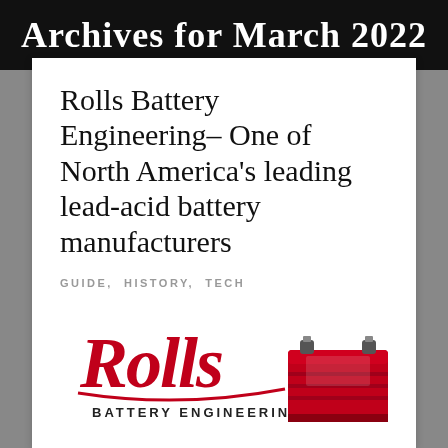Archives for March 2022
Rolls Battery Engineering– One of North America's leading lead-acid battery manufacturers
GUIDE, HISTORY, TECH
[Figure (logo): Rolls Battery Engineering logo with red script 'Rolls' text and 'BATTERY ENGINEERING' in capitals below, alongside a red lead-acid battery product image]